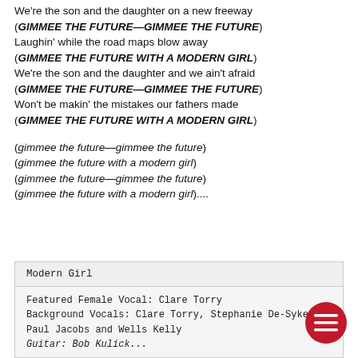We're the son and the daughter on a new freeway
(GIMMEE THE FUTURE—GIMMEE THE FUTURE)
Laughin' while the road maps blow away
(GIMMEE THE FUTURE WITH A MODERN GIRL)
We're the son and the daughter and we ain't afraid
(GIMMEE THE FUTURE—GIMMEE THE FUTURE)
Won't be makin' the mistakes our fathers made
(GIMMEE THE FUTURE WITH A MODERN GIRL)

(gimmee the future—gimmee the future)
(gimmee the future with a modern girl)
(gimmee the future—gimmee the future)
(gimmee the future with a modern girl)....
| Modern Girl |
| --- |
| Featured Female Vocal: Clare Torry |
| Background Vocals: Clare Torry, Stephanie De-Syke |
| Paul Jacobs and Wells Kelly |
| Guitar: Bob Kulick... |